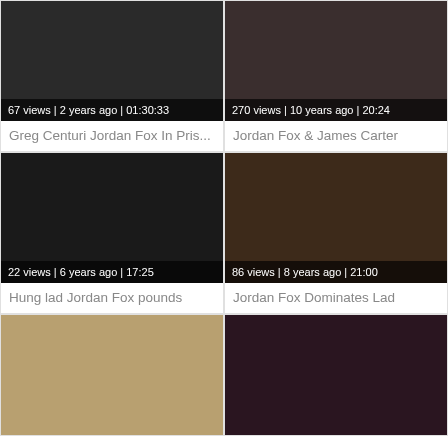[Figure (photo): Video thumbnail 1 - two figures against wall, dark clothing]
67 views | 2 years ago | 01:30:33
Greg Centuri Jordan Fox In Pris...
[Figure (photo): Video thumbnail 2 - two figures on dark sofa]
270 views | 10 years ago | 20:24
Jordan Fox & James Carter
[Figure (photo): Video thumbnail 3 - figures in dark setting]
22 views | 6 years ago | 17:25
Hung lad Jordan Fox pounds
[Figure (photo): Video thumbnail 4 - figure in red on floor]
86 views | 8 years ago | 21:00
Jordan Fox Dominates Lad
[Figure (photo): Video thumbnail 5 - person on beach sand]
[Figure (photo): Video thumbnail 6 - figure with red background]